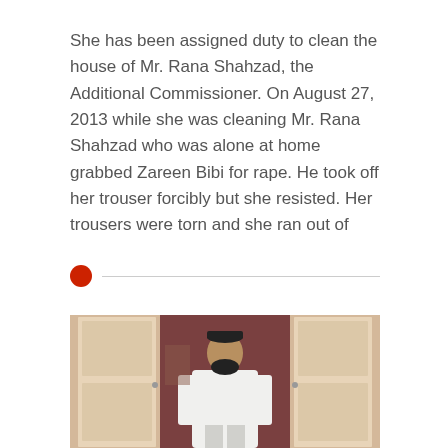She has been assigned duty to clean the house of Mr. Rana Shahzad, the Additional Commissioner. On August 27, 2013 while she was cleaning Mr. Rana Shahzad who was alone at home grabbed Zareen Bibi for rape. He took off her trouser forcibly but she resisted. Her trousers were torn and she ran out of
[Figure (photo): A man with a beard wearing a white shalwar kameez and black cap standing in an open doorway with white doors, photographed from outside]